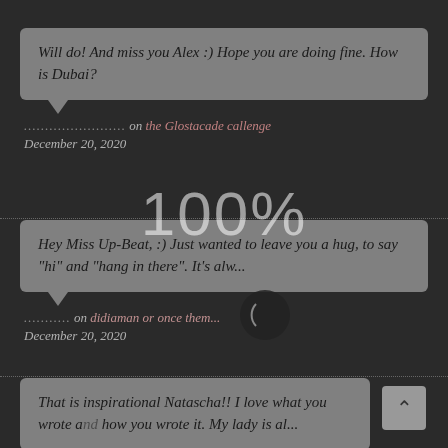Will do! And miss you Alex :) Hope you are doing fine. How is Dubai?
on December 20, 2020
100%
Hey Miss Up-Beat, :) Just wanted to leave you a hug, to say "hi" and "hang in there". It's alw...
on December 20, 2020
That is inspirational Natascha!! I love what you wrote a nd how you wrote it. My lady is al...